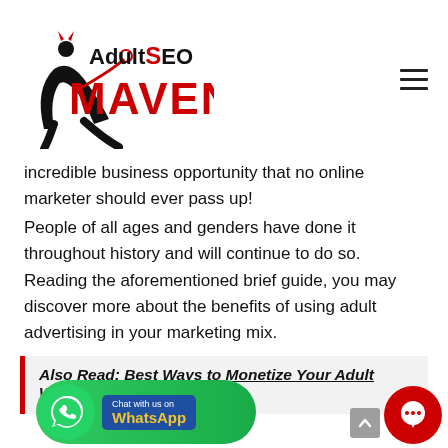Adult SEO Maven logo and navigation
incredible business opportunity that no online marketer should ever pass up!
People of all ages and genders have done it throughout history and will continue to do so. Reading the aforementioned brief guide, you may discover more about the benefits of using adult advertising in your marketing mix.
Also Read: Best Ways to Monetize Your Adult Website
[Figure (logo): WhatsApp Chat button with phone icon and text 'Chat with us on WhatsApp']
[Figure (other): Red circular chat widget button]